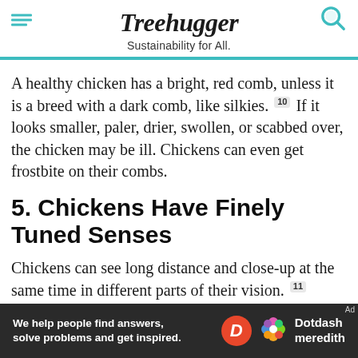Treehugger — Sustainability for All.
A healthy chicken has a bright, red comb, unless it is a breed with a dark comb, like silkies. [10] If it looks smaller, paler, drier, swollen, or scabbed over, the chicken may be ill. Chickens can even get frostbite on their combs.
5. Chickens Have Finely Tuned Senses
Chickens can see long distance and close-up at the same time in different parts of their vision. [11] They can see a broader range of colors than humans. [12] They can hea
[Figure (other): Dotdash Meredith advertisement banner: 'We help people find answers, solve problems and get inspired.']